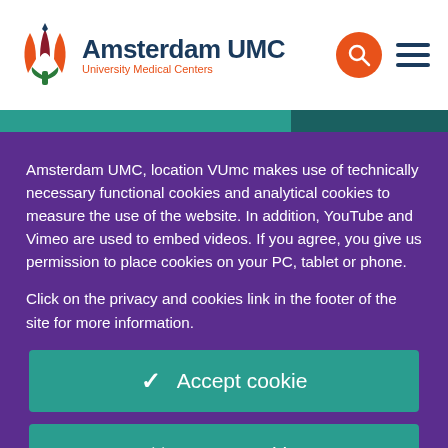[Figure (logo): Amsterdam UMC University Medical Centers logo with tulip/flame icon in orange and red, and dark blue text]
Amsterdam UMC, location VUmc makes use of technically necessary functional cookies and analytical cookies to measure the use of the website. In addition, YouTube and Vimeo are used to embed videos. If you agree, you give us permission to place cookies on your PC, tablet or phone.
Click on the privacy and cookies link in the footer of the site for more information.
✓  Accept cookie
✗  Deny cookie